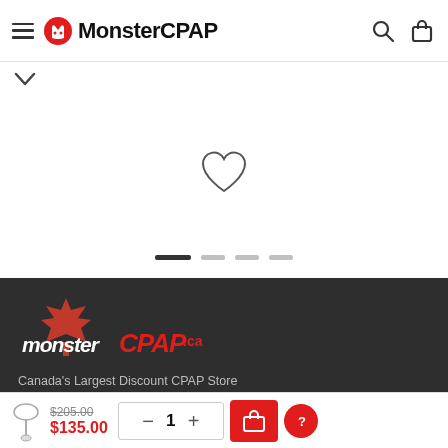MonsterCPAP
[Figure (screenshot): White product area with heart/wishlist icon and carousel pagination dots]
[Figure (logo): MonsterCPAP.ca logo on dark background with Canadian maple leaf]
Canada's Largest Discount CPAP Store
Telephone: 1-844-353-CPAP(2727)
$205.00 $135.00